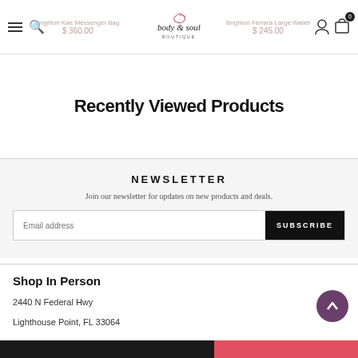Brighton Kae Messenger Bag $360.00 | body & soul boutique | Brighton Ferrara Large Wallet $245.00
Recently Viewed Products
NEWSLETTER
Join our newsletter for updates on new products and deals.
Email address  SUBSCRIBE
Shop In Person
2440 N Federal Hwy
Lighthouse Point, FL 33064